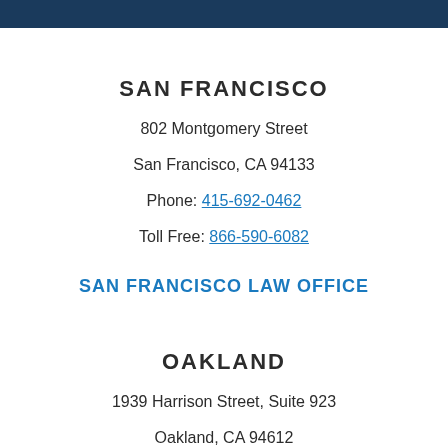SAN FRANCISCO
802 Montgomery Street
San Francisco, CA 94133
Phone: 415-692-0462
Toll Free: 866-590-6082
SAN FRANCISCO LAW OFFICE
OAKLAND
1939 Harrison Street, Suite 923
Oakland, CA 94612